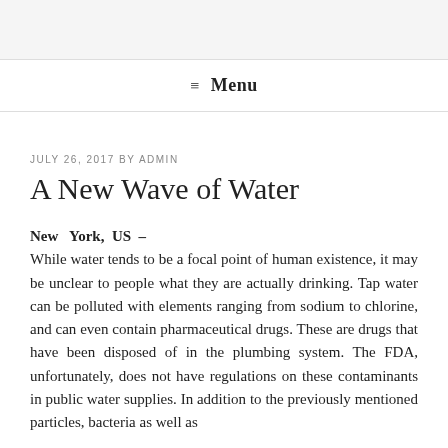≡ Menu
JULY 26, 2017 BY ADMIN
A New Wave of Water
New York, US – While water tends to be a focal point of human existence, it may be unclear to people what they are actually drinking. Tap water can be polluted with elements ranging from sodium to chlorine, and can even contain pharmaceutical drugs. These are drugs that have been disposed of in the plumbing system. The FDA, unfortunately, does not have regulations on these contaminants in public water supplies. In addition to the previously mentioned particles, bacteria as well as